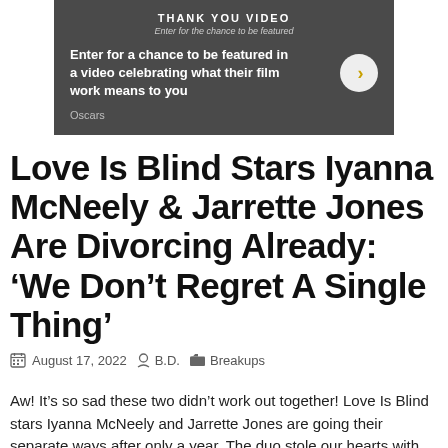[Figure (screenshot): Dark gray promotional banner for Oscars Thank You Video. Text reads: 'THANK YOU VIDEO / Enter for the chance to be featured / Enter for a chance to be featured in a video celebrating what their film work means to you' with a gold arrow button and 'Oscars' label.]
Love Is Blind Stars Iyanna McNeely & Jarrette Jones Are Divorcing Already: ‘We Don’t Regret A Single Thing’
August 17, 2022   B.D.   Breakups
Aw! It’s so sad these two didn’t work out together! Love Is Blind stars Iyanna McNeely and Jarrette Jones are going their separate ways after only a year. The duo stole our hearts with their seemingly well-matched love in the pods during the second